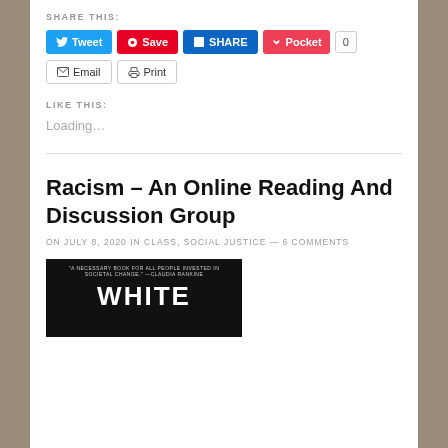SHARE THIS:
[Figure (screenshot): Social sharing buttons: Tweet (blue), Save (red Pinterest), SHARE (LinkedIn blue), Pocket (red), 0 count]
[Figure (screenshot): Email and Print buttons with icons]
LIKE THIS:
Loading...
Racism – An Online Reading And Discussion Group
ON JULY 8, 2020 IN CLASS, SOCIAL JUSTICE — 6 COMMENTS
[Figure (photo): Book cover with dark background, quote text at top reading 'A NECESSARY BOOK FOR ALL PEOPLE INVESTED IN SOCIETAL CHANGE.' —CLAUDIA RANKINE, and large white text reading WHITE]